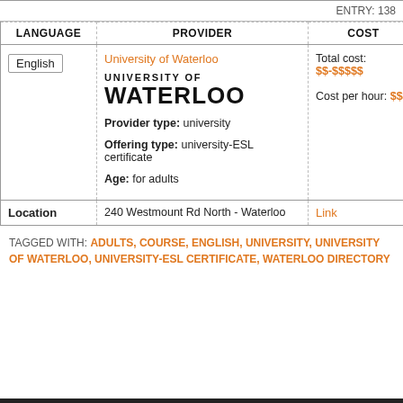ENTRY: 138
| LANGUAGE | PROVIDER | COST |
| --- | --- | --- |
| English | University of Waterloo
Provider type: university
Offering type: university-ESL certificate
Age: for adults | Total cost: $$-$$$$$
Cost per hour: $$$ |
| Location | 240 Westmount Rd North - Waterloo | Link |
TAGGED WITH: ADULTS, COURSE, ENGLISH, UNIVERSITY, UNIVERSITY OF WATERLOO, UNIVERSITY-ESL CERTIFICATE, WATERLOO DIRECTORY